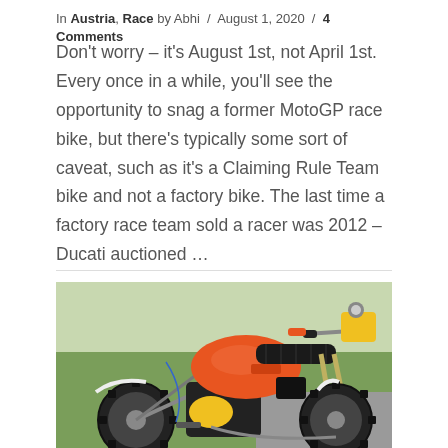In Austria, Race by Abhi / August 1, 2020 / 4 Comments
Don't worry – it's August 1st, not April 1st. Every once in a while, you'll see the opportunity to snag a former MotoGP race bike, but there's typically some sort of caveat, such as it's a Claiming Rule Team bike and not a factory bike. The last time a factory race team sold a racer was 2012 – Ducati auctioned ...
[Figure (photo): Orange and yellow vintage motocross dirt bike photographed outdoors on a driveway, with green grass in the background. The bike has a black seat, orange fuel tank, yellow number plate, and knobby tires.]